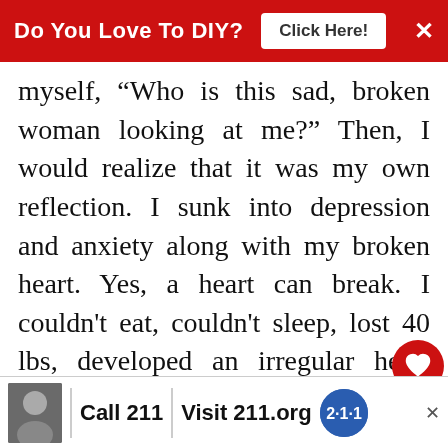Do You Love To DIY? [Click Here!] ×
myself, "Who is this sad, broken woman looking at me?" Then, I would realize that it was my own reflection. I sunk into depression and anxiety along with my broken heart. Yes, a heart can break. I couldn't eat, couldn't sleep, lost 40 lbs, developed an irregular heart beat. My kind D put me on life saving anti-anxiety and depression meds. for seve months. I had to put on a smile, go teach school all day. I coul down and lose my job. Still, we didn't have enough money to live on...iness
Call 211 | Visit 211.org [2·1·1 badge]